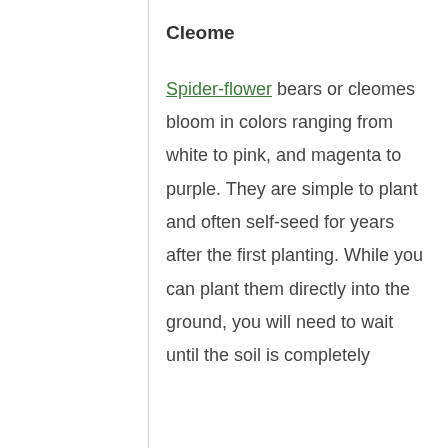Cleome
Spider-flower bears or cleomes bloom in colors ranging from white to pink, and magenta to purple. They are simple to plant and often self-seed for years after the first planting. While you can plant them directly into the ground, you will need to wait until the soil is completely